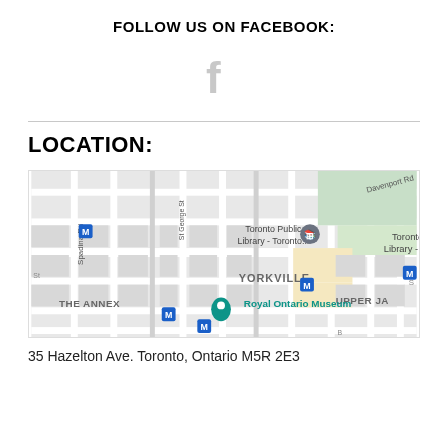FOLLOW US ON FACEBOOK:
[Figure (logo): Facebook 'f' icon in light gray]
LOCATION:
[Figure (map): Google Maps screenshot showing Yorkville area of Toronto, with markers for Toronto Public Library, Royal Ontario Museum, The Annex, Upper Ja(rvis) area, Spadina Rd, St George St, Davenport Rd]
35 Hazelton Ave. Toronto, Ontario M5R 2E3